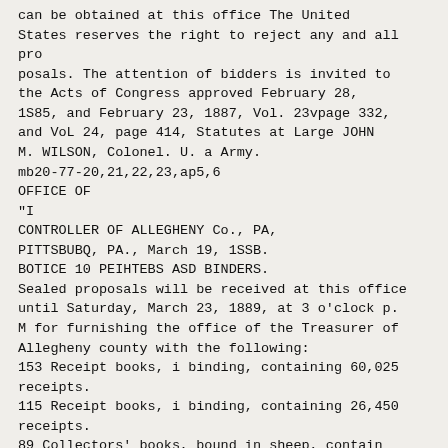can be obtained at this office The United States reserves the right to reject any and all proposals. The attention of bidders is invited to the Acts of Congress approved February 28, 1S85, and February 23, 1887, Vol. 23vpage 332, and VoL 24, page 414, Statutes at Large JOHN M. WILSON, Colonel. U. a Army.
mb20-77-20,21,22,23,ap5,6
OFFICE OF
"I
CONTROLLER OF ALLEGHENY Co., PA,
PITTSBUBQ, PA., March 19, 1SSB.
BOTICE 10 PEIHTEBS ASD BINDERS.
Sealed proposals will be received at this office until Saturday, March 23, 1889, at 3 o'clock p. M for furnishing the office of the Treasurer of Allegheny county with the following:
153 Receipt books, i binding, containing 60,025 receipts.
115 Receipt books, i binding, containing 26,450 receipts.
89 Collectors' books, bound in sheep, containing 5,000 leaves.
13S Collectors' books, bound in paper, 11 bind ing, containing 3,750 l